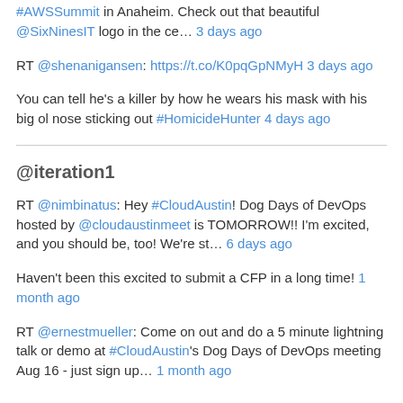#AWSSummit in Anaheim. Check out that beautiful @SixNinesIT logo in the ce… 3 days ago
RT @shenanigansen: https://t.co/K0pqGpNMyH 3 days ago
You can tell he's a killer by how he wears his mask with his big ol nose sticking out #HomicideHunter 4 days ago
@iteration1
RT @nimbinatus: Hey #CloudAustin! Dog Days of DevOps hosted by @cloudaustinmeet is TOMORROW!! I'm excited, and you should be, too! We're st… 6 days ago
Haven't been this excited to submit a CFP in a long time! 1 month ago
RT @ernestmueller: Come on out and do a 5 minute lightning talk or demo at #CloudAustin's Dog Days of DevOps meeting Aug 16 - just sign up… 1 month ago